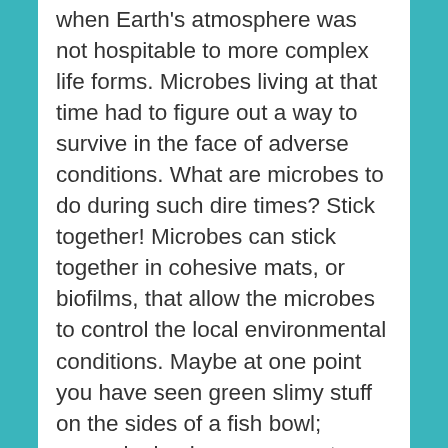when Earth's atmosphere was not hospitable to more complex life forms. Microbes living at that time had to figure out a way to survive in the face of adverse conditions. What are microbes to do during such dire times? Stick together! Microbes can stick together in cohesive mats, or biofilms, that allow the microbes to control the local environmental conditions. Maybe at one point you have seen green slimy stuff on the sides of a fish bowl; several microbes can secrete sticky glue called exopolymeric substances (EPS) that allows them to live as a biofilm attached to a surface. This glue is also important for trapping and binding minerals to build...